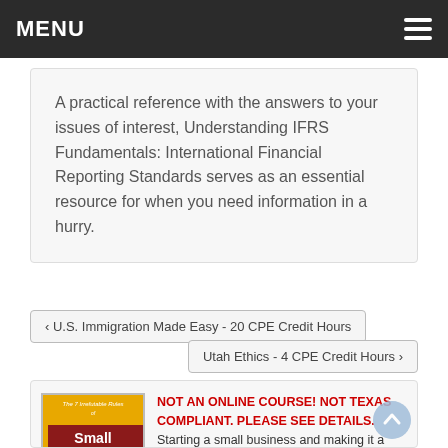MENU
A practical reference with the answers to your issues of interest, Understanding IFRS Fundamentals: International Financial Reporting Standards serves as an essential resource for when you need information in a hurry.
< U.S. Immigration Made Easy - 20 CPE Credit Hours
Utah Ethics - 4 CPE Credit Hours >
[Figure (illustration): Book cover: The 7 Irrefutable Rules of Small Business Growth by Steven S. Little]
NOT AN ONLINE COURSE! NOT TEXAS COMPLIANT. PLEASE SEE DETAILS. Starting a small business and making it a success isn't